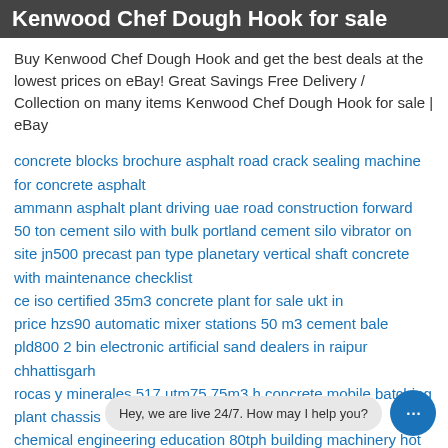Kenwood Chef Dough Hook for sale
Buy Kenwood Chef Dough Hook and get the best deals at the lowest prices on eBay! Great Savings Free Delivery / Collection on many items Kenwood Chef Dough Hook for sale | eBay
concrete blocks brochure asphalt road crack sealing machine for concrete asphalt
ammann asphalt plant driving uae road construction forward
50 ton cement silo with bulk portland cement silo vibrator on site jn500 precast pan type planetary vertical shaft concrete with maintenance checklist
ce iso certified 35m3 concrete plant for sale ukt in
price hzs90 automatic mixer stations 50 m3 cement bale
pld800 2 bin electronic artificial sand dealers in raipur chhattisgarh
rocas y minerales 517 utm75 75m3 h concrete mobile batching plant chassis
chemical engineering education 80tph building machinery hot asphalt mixer asphalt emulsion
hzs75 price of 75m3/h banner lift cement js1500 concrete mixer china suppli...
ammann asphalt plant driving uae road construction forward